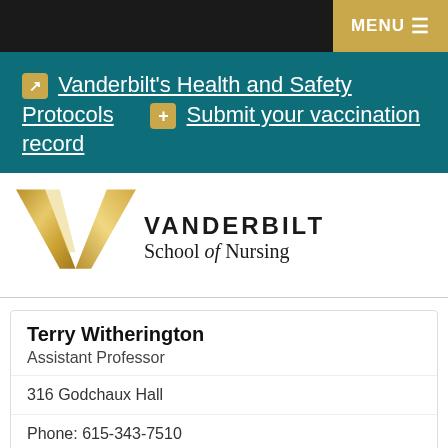MENU
Vanderbilt's Health and Safety Protocols   Submit your vaccination record
[Figure (logo): Vanderbilt School of Nursing logo with gold V mark and text]
Terry Witherington
Assistant Professor
316 Godchaux Hall
Phone: 615-343-7510
Fax: 615-347-7711
Email